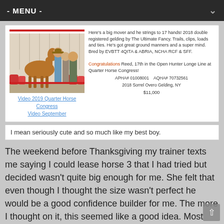- MENU -
[Figure (photo): Horse with three people standing in a show ring with floral decorations in the background]
Video 2019 Quarter Horse Congress
Video September
Here's a big mover and he strings to 17 hands! 2018 double registered gelding by The Ultimate Fancy. Trails, clips, loads and ties. He's got great ground manners and a super mind. Bred by EVBTT 4QITA & ABRIA, NCHA RCF & SFF.
Congratulations Reed, 17th in the Open Hunter Longe Line at Quarter Horse Congress!
APHA# 01008001    AQHA# 70732561
2018 Sorrel Overo Gelding, NY
$11,000
I mean seriously cute and so much like my best boy.
The weekend before Thanksgiving my trainer texts me saying I could lease horse 3 that I had tried but decided wasn't quite big enough for me. She felt that even though I thought the size wasn't perfect he would be a good confidence builder for me. The more I thought on it, this seemed like a good idea. Most likely I will end up with a young, green horse unless I happen upon a nice big TB with some training, and my confidence just isn't there over